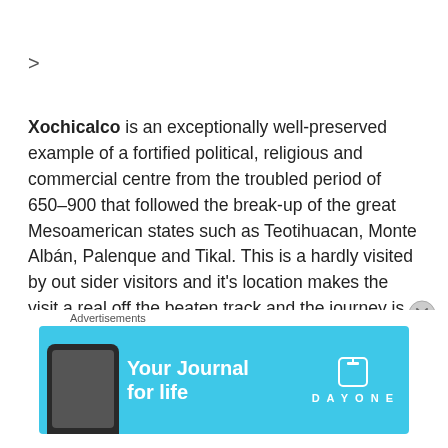>
Xochicalco is an exceptionally well-preserved example of a fortified political, religious and commercial centre from the troubled period of 650–900 that followed the break-up of the great Mesoamerican states such as Teotihuacan, Monte Albán, Palenque and Tikal. This is a hardly visited by out sider visitors and it's location makes the visit a real off the beaten track and the journey is just gives more of a closer understanding of how the locals always lived in these remote villages and
[Figure (screenshot): Advertisement banner for Day One journal app with cyan/light blue background, showing a phone, 'Your Journal for life' text, and the Day One logo with text. Labeled 'Advertisements' above.]